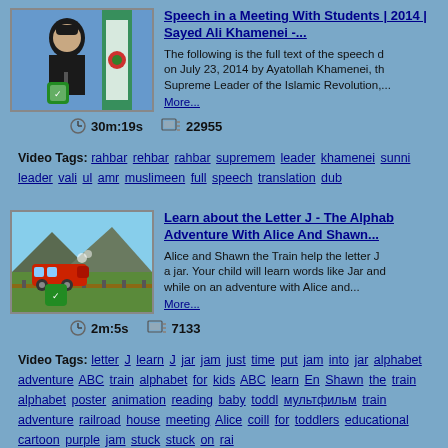[Figure (screenshot): Thumbnail image of a man in black turban speaking at a podium with an Iranian flag in the background]
Speech in a Meeting With Students | 2014 | Sayed Ali Khamenei -...
The following is the full text of the speech delivered on July 23, 2014 by Ayatollah Khamenei, the Supreme Leader of the Islamic Revolution,...
More...
30m:19s  22955
Video Tags: rahbar rehbar rahbar supremem leader khamenei sunni leader vali ul amr muslimeen full speech translation dub
[Figure (screenshot): Thumbnail image of an animated train scene with green hills and a red train]
Learn about the Letter J - The Alphabet Adventure With Alice And Shawn...
Alice and Shawn the Train help the letter J find a jar. Your child will learn words like Jar and... while on an adventure with Alice and...
More...
2m:5s  7133
Video Tags: letter J learn J jar jam just time put jam into jar alphabet adventure ABC train alphabet for kids ABC learn En Shawn the train alphabet poster animation reading baby toddl мультфильм train adventure railroad house meeting Alice coill for toddlers educational cartoon purple jam stuck stuck on rai